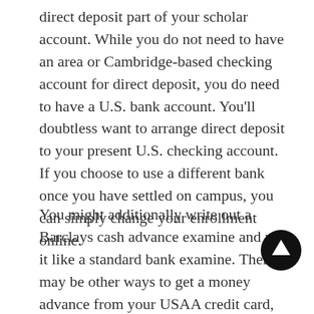direct deposit part of your scholar account. While you do not need to have an area or Cambridge-based checking account for direct deposit, you do need to have a U.S. bank account. You'll doubtless want to arrange direct deposit to your present U.S. checking account. If you choose to use a different bank once you have settled on campus, you can simply change your enrollment online.
You might additionally write out a Barclays cash advance examine and use it like a standard bank examine. There may be other ways to get a money advance from your USAA credit card, too. For example, you presumably can